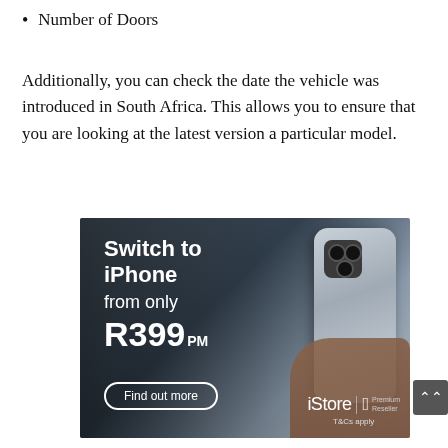Number of Doors
Additionally, you can check the date the vehicle was introduced in South Africa. This allows you to ensure that you are looking at the latest version a particular model.
[Figure (photo): iStore advertisement showing an iPhone being held by a hand. Text reads: 'Switch to iPhone from only R399PM'. Includes 'Find out more' button and iStore Apple Premium Reseller branding with T&Cs apply.]